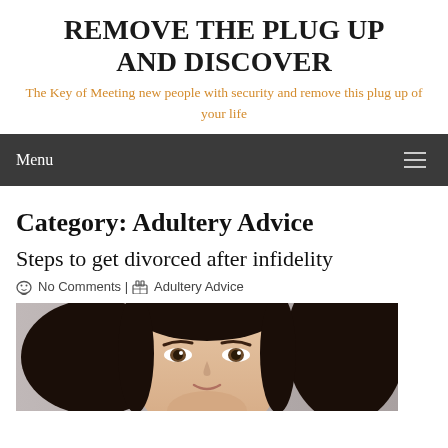REMOVE THE PLUG UP AND DISCOVER
The Key of Meeting new people with security and remove this plug up of your life
Menu
Category: Adultery Advice
Steps to get divorced after infidelity
No Comments | Adultery Advice
[Figure (photo): Close-up photo of a young woman with long dark hair and brown eyes, looking at the camera with a neutral expression, gray background.]